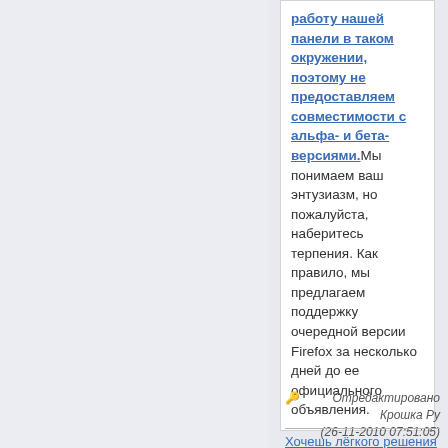работу нашей панели в таком окружении, поэтому не предоставляем совместимости с альфа- и бета-версиями. Мы понимаем ваш энтузиазм, но пожалуйста, наберитесь терпения. Как правило, мы предлагаем поддержку очередной версии Firefox за несколько дней до ее официального объявления.
Отредактировано Крошка Ру (26-11-2010 07:51:05)
Хочешь лёгкого решения - сбрось Firefox :)